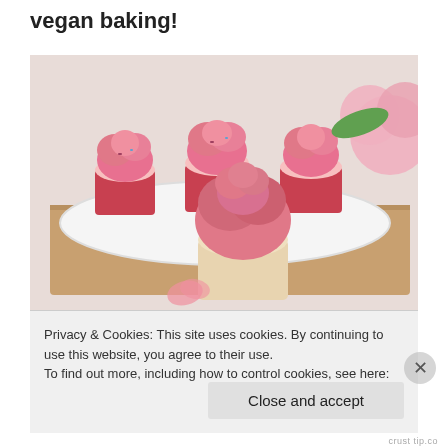vegan baking!
[Figure (photo): Photo of pink frosted cupcakes in red wrappers on a white plate on a wooden board, with a single cupcake with pink swirl frosting in front, and pink flowers in the background on a white surface.]
Privacy & Cookies: This site uses cookies. By continuing to use this website, you agree to their use.
To find out more, including how to control cookies, see here: Cookie Policy
Close and accept
crust tip.co